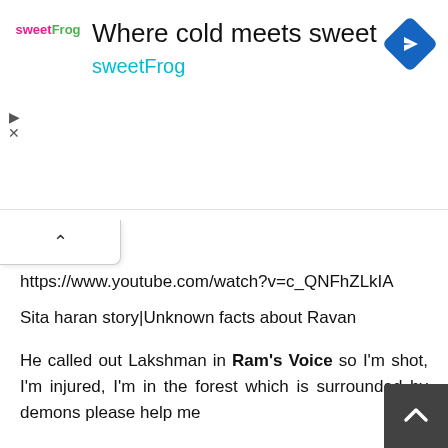[Figure (screenshot): sweetFrog advertisement banner with logo, title 'Where cold meets sweet', subtitle 'sweetFrog', and a blue navigation diamond icon on the right]
https://www.youtube.com/watch?v=c_QNFhZLkIA
Sita haran story|Unknown facts about Ravan
He called out Lakshman in Ram's Voice so I'm shot, I'm injured, I'm in the forest which is surrounded by demons please help me